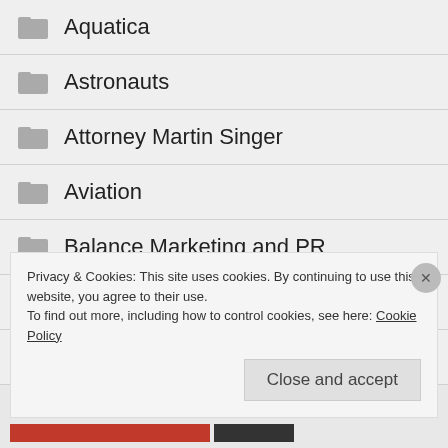Aquatica
Astronauts
Attorney Martin Singer
Aviation
Balance Marketing and PR
Balance Marketing Santa Monica
Balancia
Privacy & Cookies: This site uses cookies. By continuing to use this website, you agree to their use.
To find out more, including how to control cookies, see here: Cookie Policy
Close and accept